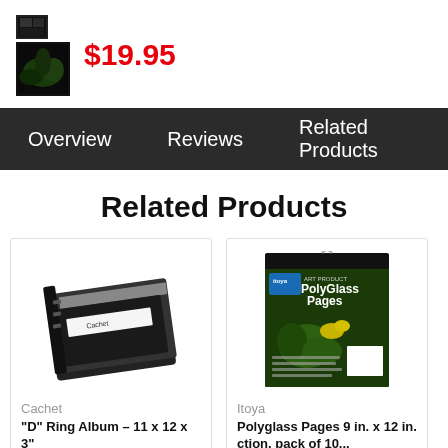$19.95
Overview | Reviews | Related Products
Related Products
[Figure (photo): Black D-Ring photo album product photo]
Cachet
"D" Ring Album – 11 x 12 x 3" Archival Presentation...
[Figure (photo): Itoya PolyGlass Pages product packaging photo]
Itoya
Polyglass Pages 9 in. x 12 in. ... ction, pack of 10...